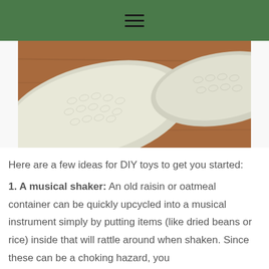☰
[Figure (photo): Photo of white/cream knitted or crocheted fabric pieces laid out on a wooden surface, showing textured pattern]
Here are a few ideas for DIY toys to get you started:
1. A musical shaker: An old raisin or oatmeal container can be quickly upcycled into a musical instrument simply by putting items (like dried beans or rice) inside that will rattle around when shaken. Since these can be a choking hazard, you